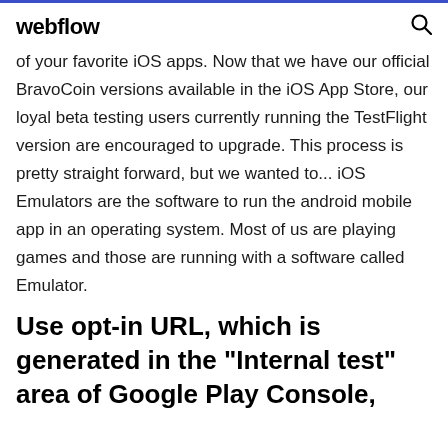webflow
of your favorite iOS apps. Now that we have our official BravoCoin versions available in the iOS App Store, our loyal beta testing users currently running the TestFlight version are encouraged to upgrade. This process is pretty straight forward, but we wanted to... iOS Emulators are the software to run the android mobile app in an operating system. Most of us are playing games and those are running with a software called Emulator.
Use opt-in URL, which is generated in the "Internal test" area of Google Play Console,